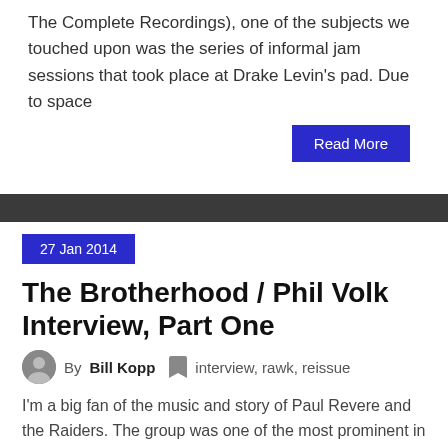The Complete Recordings), one of the subjects we touched upon was the series of informal jam sessions that took place at Drake Levin's pad. Due to space
Read More
27 Jan 2014
The Brotherhood / Phil Volk Interview, Part One
By Bill Kopp  interview, rawk, reissue
I'm a big fan of the music and story of Paul Revere and the Raiders. The group was one of the most prominent in 60s pop culture, but they're somehow forgotten all too often these days. I've written extensively on the band over the years. In my research several years back, I discovered that three
Read More